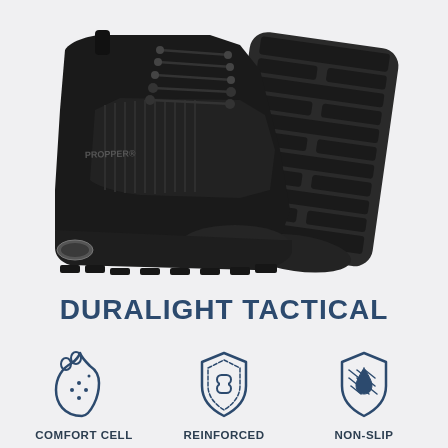[Figure (photo): Two black Propper Duralight Tactical boots shown from side and bottom sole view on light gray background]
DURALIGHT TACTICAL
[Figure (illustration): Icon: comfort cell - insole/foot cushion shape]
COMFORT CELL
[Figure (illustration): Icon: reinforced - shield with chain link]
REINFORCED
[Figure (illustration): Icon: non-slip - shield with water drop and diamond plate pattern]
NON-SLIP